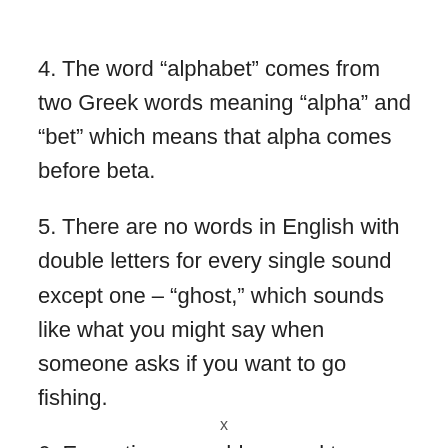4. The word “alphabet” comes from two Greek words meaning “alpha” and “bet” which means that alpha comes before beta.
5. There are no words in English with double letters for every single sound except one – “ghost,” which sounds like what you might say when someone asks if you want to go fishing.
6. Every time we add a vowel to a word it causes a change in how many syllables it has.
x